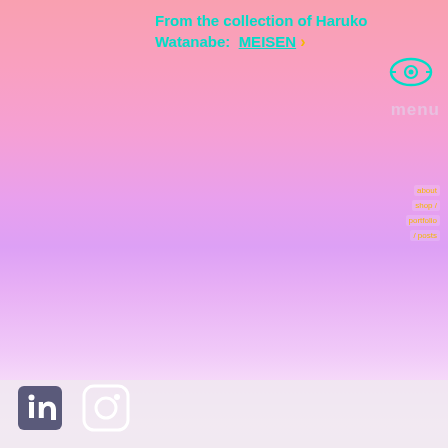From the collection of Haruko Watanabe: MEISEN ›
[Figure (illustration): Eye icon / logo in teal/cyan color in upper right area]
menu
about
shop /
portfolio
/ posts
[Figure (illustration): Gradient background transitioning from salmon pink at top through lavender/violet in the middle to near-white at the bottom]
LinkedIn and Instagram social media icons
[Figure (logo): LinkedIn icon (white on dark square)]
[Figure (logo): Instagram camera icon (white outline on rounded square)]